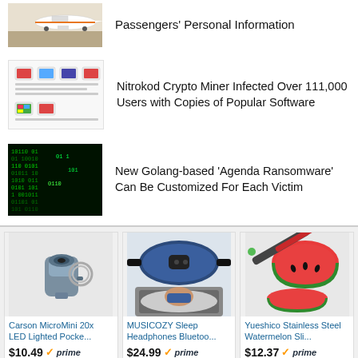[Figure (screenshot): Airplane thumbnail image - partial view from previous news item]
Passengers' Personal Information
[Figure (screenshot): Crypto miner software interface thumbnail showing app icons]
Nitrokod Crypto Miner Infected Over 111,000 Users with Copies of Popular Software
[Figure (photo): Green matrix-style code on dark background representing ransomware]
New Golang-based ‘Agenda Ransomware’ Can Be Customized For Each Victim
[Figure (photo): Carson MicroMini 20x LED Lighted Pocket Microscope product image]
Carson MicroMini 20x LED Lighted Pocke...
$10.49 prime
[Figure (photo): MUSICOZY Sleep Headphones Bluetooth sleep mask product image]
MUSICOZY Sleep Headphones Bluetoo...
$24.99 prime
[Figure (photo): Yueshico Stainless Steel Watermelon Slicer product image]
Yueshico Stainless Steel Watermelon Sli...
$12.37 prime